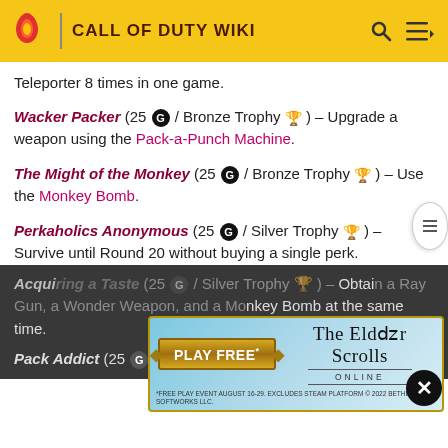CALL OF DUTY WIKI
Teleporter 8 times in one game.
Wacker Packer (25 G / Bronze Trophy) – Upgrade a weapon using the Pack-a-Punch Machine.
The Might of the Monkey (25 G / Bronze Trophy) – Use the Monkey Bomb.
Perkaholics Anonymous (25 G / Silver Trophy) – Survive until Round 20 without buying a single perk.
Acquiring a Taste (25 G / Silver Trophy) – Obtain a Ray Gun, a Wonder Weapon, and a Monkey Bomb at the same time.
Pack Addict (25 G / Silver Trophy) – Upgrade 5